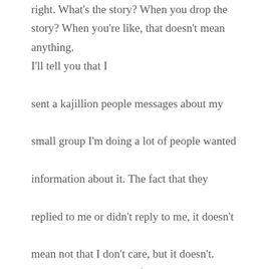right. What's the story? When you drop the story? When you're like, that doesn't mean anything. I'll tell you that I sent a kajillion people messages about my small group I'm doing a lot of people wanted information about it. The fact that they replied to me or didn't reply to me, it doesn't mean not that I don't care, but it doesn't. There's no story to that for me at all. I mean, I know that if they're not doing it, it's not right for them, whoop dee doo, whoop dee doo. But a lot of people and maybe the old me, right version of